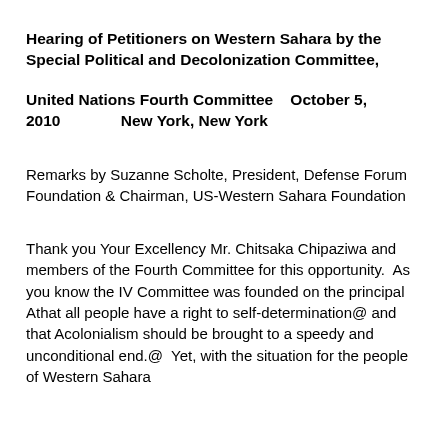Hearing of Petitioners on Western Sahara by the Special Political and Decolonization Committee,
United Nations Fourth Committee    October 5, 2010                New York, New York
Remarks by Suzanne Scholte, President, Defense Forum Foundation & Chairman, US-Western Sahara Foundation
Thank you Your Excellency Mr. Chitsaka Chipaziwa and members of the Fourth Committee for this opportunity.  As you know the IV Committee was founded on the principal Athat all people have a right to self-determination@ and that Acolonialism should be brought to a speedy and unconditional end.@  Yet, with the situation for the people of Western Sahara